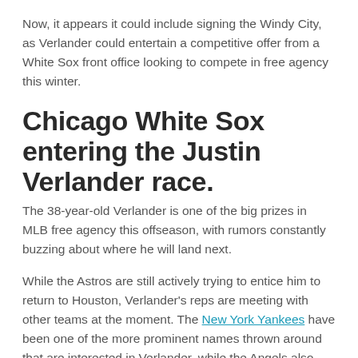Now, it appears it could include signing the Windy City, as Verlander could entertain a competitive offer from a White Sox front office looking to compete in free agency this winter.
Chicago White Sox entering the Justin Verlander race.
The 38-year-old Verlander is one of the big prizes in MLB free agency this offseason, with rumors constantly buzzing about where he will land next.
While the Astros are still actively trying to entice him to return to Houston, Verlander's reps are meeting with other teams at the moment. The New York Yankees have been one of the more prominent names thrown around that are interested in Verlander, while the Angels also